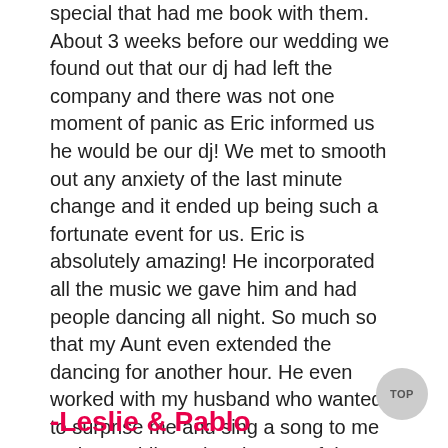special that had me book with them. About 3 weeks before our wedding we found out that our dj had left the company and there was not one moment of panic as Eric informed us he would be our dj! We met to smooth out any anxiety of the last minute change and it ended up being such a fortunate event for us. Eric is absolutely amazing! He incorporated all the music we gave him and had people dancing all night. So much so that my Aunt even extended the dancing for another hour. He even worked with my husband who wanted to surprise me and sing a song to me at the wedding. The pictures of that look great with the cool mic they provide. Overall the music was amazing from ceremony to reception and I danced to every song he played. Would recommend All Around Raleigh, and especially Eric, to anyone looking for a wedding DJ!
-Leslie & Pablo